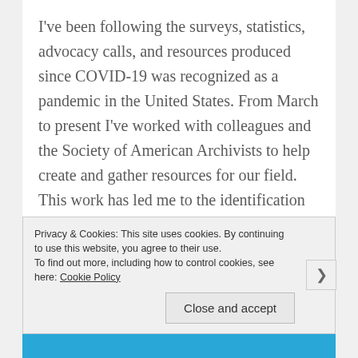I've been following the surveys, statistics, advocacy calls, and resources produced since COVID-19 was recognized as a pandemic in the United States. From March to present I've worked with colleagues and the Society of American Archivists to help create and gather resources for our field. This work has led me to the identification of five actions we each can take in order to help combat the COVID-19 economic crisis facing archives, museums, and cultural heritage organizations.
Privacy & Cookies: This site uses cookies. By continuing to use this website, you agree to their use.
To find out more, including how to control cookies, see here: Cookie Policy
Close and accept